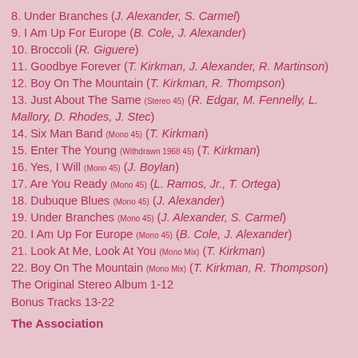8. Under Branches (J. Alexander, S. Carmel)
9. I Am Up For Europe (B. Cole, J. Alexander)
10. Broccoli (R. Giguere)
11. Goodbye Forever (T. Kirkman, J. Alexander, R. Martinson)
12. Boy On The Mountain (T. Kirkman, R. Thompson)
13. Just About The Same (Stereo 45) (R. Edgar, M. Fennelly, L. Mallory, D. Rhodes, J. Stec)
14. Six Man Band (Mono 45) (T. Kirkman)
15. Enter The Young (Withdrawn 1968 45) (T. Kirkman)
16. Yes, I Will (Mono 45) (J. Boylan)
17. Are You Ready (Mono 45) (L. Ramos, Jr., T. Ortega)
18. Dubuque Blues (Mono 45) (J. Alexander)
19. Under Branches (Mono 45) (J. Alexander, S. Carmel)
20. I Am Up For Europe (Mono 45) (B. Cole, J. Alexander)
21. Look At Me, Look At You (Mono Mix) (T. Kirkman)
22. Boy On The Mountain (Mono Mix) (T. Kirkman, R. Thompson)
The Original Stereo Album 1-12
Bonus Tracks 13-22
The Association